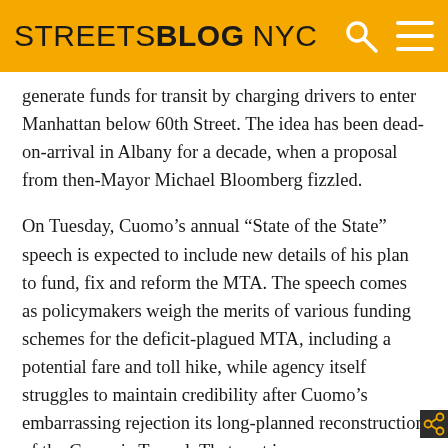STREETSBLOG NYC
generate funds for transit by charging drivers to enter Manhattan below 60th Street. The idea has been dead-on-arrival in Albany for a decade, when a proposal from then-Mayor Michael Bloomberg fizzled.
On Tuesday, Cuomo's annual “State of the State” speech is expected to include new details of his plan to fund, fix and reform the MTA. The speech comes as policymakers weigh the merits of various funding schemes for the deficit-plagued MTA, including a potential fare and toll hike, while agency itself struggles to maintain credibility after Cuomo’s embarrassing rejection its long-planned reconstruction of the Canarsie Tunnel. That past is